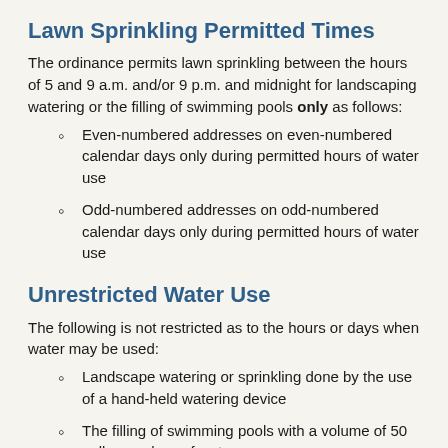Lawn Sprinkling Permitted Times
The ordinance permits lawn sprinkling between the hours of 5 and 9 a.m. and/or 9 p.m. and midnight for landscaping watering or the filling of swimming pools only as follows:
Even-numbered addresses on even-numbered calendar days only during permitted hours of water use
Odd-numbered addresses on odd-numbered calendar days only during permitted hours of water use
Unrestricted Water Use
The following is not restricted as to the hours or days when water may be used:
Landscape watering or sprinkling done by the use of a hand-held watering device
The filling of swimming pools with a volume of 50 gallons or less of water